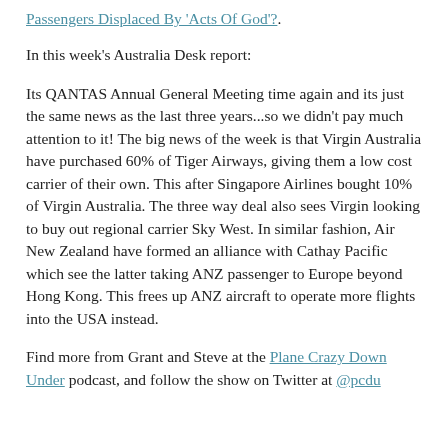Passengers Displaced By 'Acts Of God'?.
In this week's Australia Desk report:
Its QANTAS Annual General Meeting time again and its just the same news as the last three years...so we didn't pay much attention to it! The big news of the week is that Virgin Australia have purchased 60% of Tiger Airways, giving them a low cost carrier of their own. This after Singapore Airlines bought 10% of Virgin Australia. The three way deal also sees Virgin looking to buy out regional carrier Sky West. In similar fashion, Air New Zealand have formed an alliance with Cathay Pacific which see the latter taking ANZ passenger to Europe beyond Hong Kong. This frees up ANZ aircraft to operate more flights into the USA instead.
Find more from Grant and Steve at the Plane Crazy Down Under podcast, and follow the show on Twitter at @pcdu